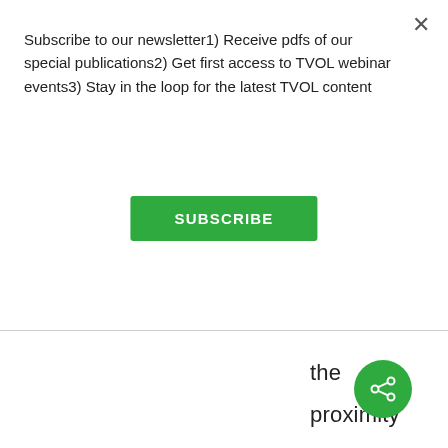Subscribe to our newsletter1) Receive pdfs of our special publications2) Get first access to TVOL webinar events3) Stay in the loop for the latest TVOL content
SUBSCRIBE
the proximity of family members and are therefore influenced